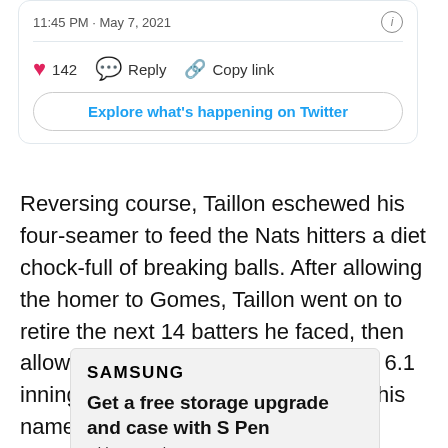11:45 PM · May 7, 2021
142   Reply   Copy link
Explore what's happening on Twitter
Reversing course, Taillon eschewed his four-seamer to feed the Nats hitters a diet chock-full of breaking balls. After allowing the homer to Gomes, Taillon went on to retire the next 14 batters he faced, then allowed a single and exited with both 6.1 innings pitched and a quality start to his name.
[Figure (screenshot): Samsung advertisement: SAMSUNG logo, headline 'Get a free storage upgrade and case with S Pen', subtext 'with pre-order']